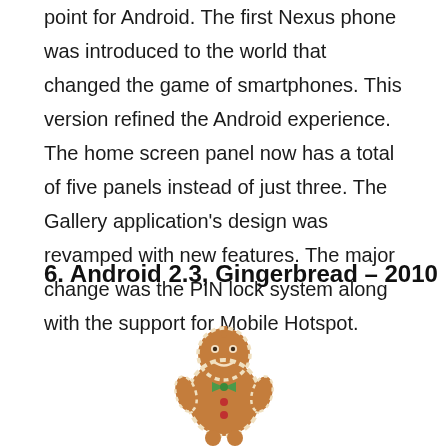point for Android. The first Nexus phone was introduced to the world that changed the game of smartphones. This version refined the Android experience. The home screen panel now has a total of five panels instead of just three. The Gallery application's design was revamped with new features. The major change was the PIN lock system along with the support for Mobile Hotspot.
6. Android 2.3, Gingerbread – 2010
[Figure (illustration): Android Gingerbread mascot — a gingerbread-man shaped Android robot with brown cookie body, white icing trim, green bow tie, and red buttons]